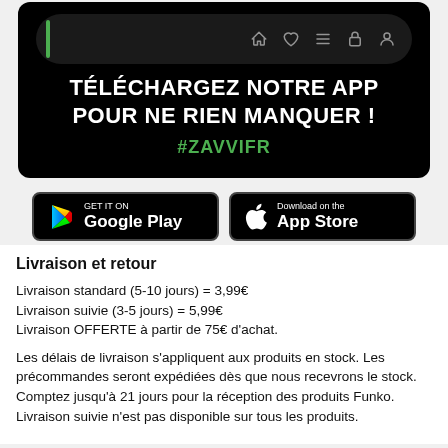[Figure (infographic): Black banner with phone UI top bar, bold white text 'TÉLÉCHARGEZ NOTRE APP POUR NE RIEN MANQUER!', green hashtag '#ZAVVIFR', followed by Google Play and App Store download buttons on grey background.]
Livraison et retour
Livraison standard (5-10 jours) = 3,99€
Livraison suivie (3-5 jours) = 5,99€
Livraison OFFERTE à partir de 75€ d'achat.
Les délais de livraison s'appliquent aux produits en stock. Les précommandes seront expédiées dès que nous recevrons le stock. Comptez jusqu'à 21 jours pour la réception des produits Funko. Livraison suivie n'est pas disponible sur tous les produits.